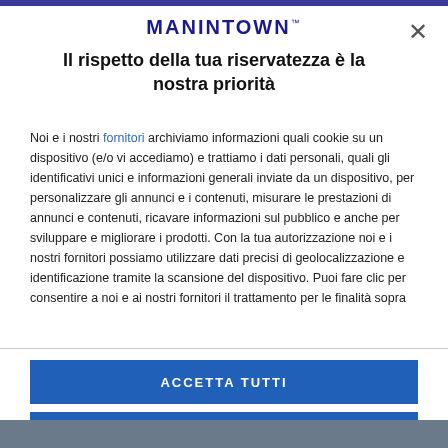MANINTOWN™
Il rispetto della tua riservatezza è la nostra priorità
Noi e i nostri fornitori archiviamo informazioni quali cookie su un dispositivo (e/o vi accediamo) e trattiamo i dati personali, quali gli identificativi unici e informazioni generali inviate da un dispositivo, per personalizzare gli annunci e i contenuti, misurare le prestazioni di annunci e contenuti, ricavare informazioni sul pubblico e anche per sviluppare e migliorare i prodotti. Con la tua autorizzazione noi e i nostri fornitori possiamo utilizzare dati precisi di geolocalizzazione e identificazione tramite la scansione del dispositivo. Puoi fare clic per consentire a noi e ai nostri fornitori il trattamento per le finalità sopra
ACCETTA TUTTI
PIÙ OPZIONI